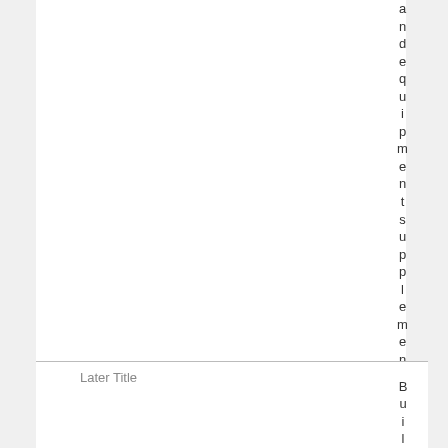and equipment supplement
Later Title
Buil...